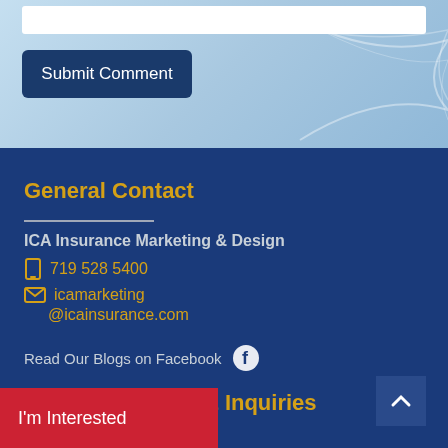Submit Comment
General Contact
ICA Insurance Marketing & Design
719 528 5400
icamarketing@icainsurance.com
Read Our Blogs on Facebook
ICA Membership & Inquiries
ICA Agency Alliance, Inc.
9 3950
I'm Interested